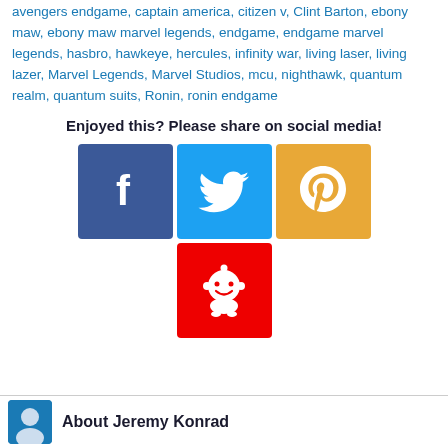avengers endgame, captain america, citizen v, Clint Barton, ebony maw, ebony maw marvel legends, endgame, endgame marvel legends, hasbro, hawkeye, hercules, infinity war, living laser, living lazer, Marvel Legends, Marvel Studios, mcu, nighthawk, quantum realm, quantum suits, Ronin, ronin endgame
Enjoyed this? Please share on social media!
[Figure (illustration): Social media share buttons: Facebook (blue), Twitter (blue), Pinterest (orange/yellow), Reddit (red)]
About Jeremy Konrad